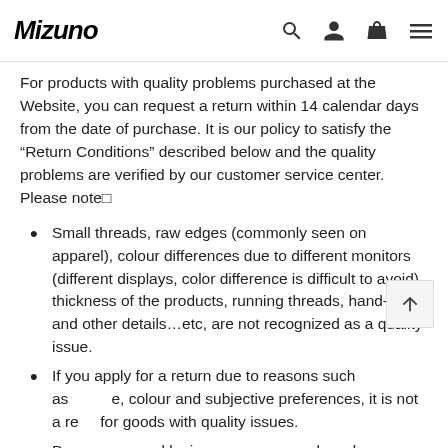Mizuno
For products with quality problems purchased at the Website, you can request a return within 14 calendar days from the date of purchase. It is our policy to satisfy the “Return Conditions” described below and the quality problems are verified by our customer service center. Please note□
Small threads, raw edges (commonly seen on apparel), colour differences due to different monitors (different displays, color difference is difficult to avoid), thickness of the products, running threads, hand-feel and other details…etc, are not recognized as a quality issue.
If you apply for a return due to reasons such as size, colour and subjective preferences, it is not a return for goods with quality issues.
Damage caused by improper use, wash or damage caused by your own alteration or other human factors is not a quality issue return.
If the products are clearly indicated with defects at the time of purchase, such defects are not considered as